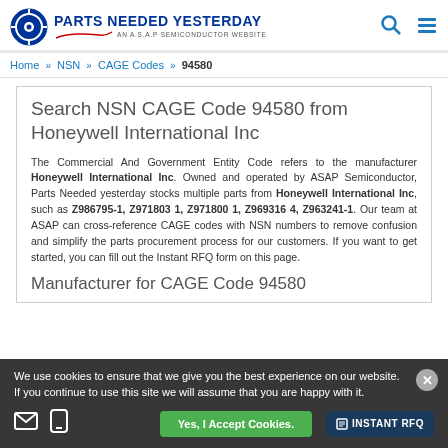[Figure (logo): Parts Needed Yesterday logo — blue circle with gear/target icon, blue bold text 'PARTS NEEDED YESTERDAY', subtitle 'AN A.S.A.P SEMICONDUCTOR WEBSITE' with red swoosh]
Home >> NSN >> CAGE Codes >> 94580
Search NSN CAGE Code 94580 from Honeywell International Inc
The Commercial And Government Entity Code refers to the manufacturer Honeywell International Inc. Owned and operated by ASAP Semiconductor, Parts Needed yesterday stocks multiple parts from Honeywell International Inc, such as Z986795-1, Z971803 1, Z971800 1, Z969316 4, Z963241-1. Our team at ASAP can cross-reference CAGE codes with NSN numbers to remove confusion and simplify the parts procurement process for our customers. If you want to get started, you can fill out the Instant RFQ form on this page.
Manufacturer for CAGE Code 94580
We use cookies to ensure that we give you the best experience on our website. If you continue to use this site we will assume that you are happy with it.